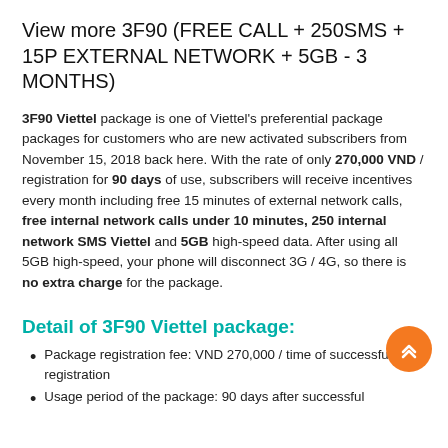View more 3F90 (FREE CALL + 250SMS + 15P EXTERNAL NETWORK + 5GB - 3 MONTHS)
3F90 Viettel package is one of Viettel's preferential package packages for customers who are new activated subscribers from November 15, 2018 back here. With the rate of only 270,000 VND / registration for 90 days of use, subscribers will receive incentives every month including free 15 minutes of external network calls, free internal network calls under 10 minutes, 250 internal network SMS Viettel and 5GB high-speed data. After using all 5GB high-speed, your phone will disconnect 3G / 4G, so there is no extra charge for the package.
Detail of 3F90 Viettel package:
Package registration fee: VND 270,000 / time of successful registration
Usage period of the package: 90 days after successful